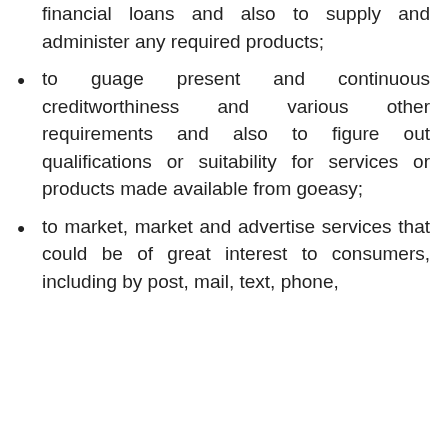financial loans and also to supply and administer any required products;
to guage present and continuous creditworthiness and various other requirements and also to figure out qualifications or suitability for services or products made available from goeasy;
to market, market and advertise services that could be of great interest to consumers, including by post, mail, text, phone,